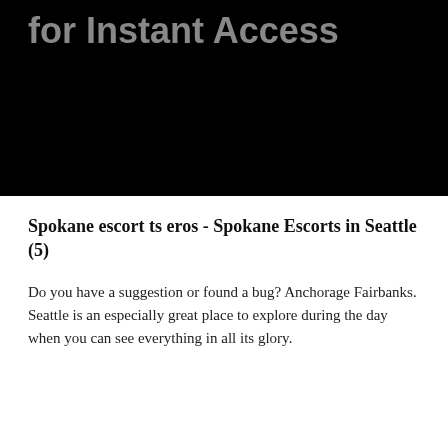[Figure (other): Black banner image with gray bold text reading 'for Instant Access']
Spokane escort ts eros - Spokane Escorts in Seattle (5)
Do you have a suggestion or found a bug? Anchorage Fairbanks. Seattle is an especially great place to explore during the day when you can see everything in all its glory.